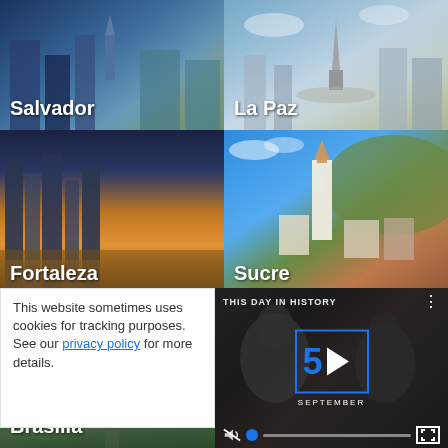[Figure (photo): City photo card labeled Salvador - colorful colonial buildings]
[Figure (photo): City photo card labeled La Paz - plaza with monument]
[Figure (photo): City photo card labeled Fortaleza - aerial sunset over waterfront skyscrapers]
[Figure (photo): City photo card labeled Sucre - aerial view of white colonial city with church and hills]
[Figure (photo): City photo card labeled Brasilia - aerial view of government buildings and roads]
[Figure (photo): Article card: Best Hostels in La Paz, Bolivia for - blue sky background]
This website sometimes uses cookies for tracking purposes. See our privacy policy for more details.
[Figure (screenshot): Video overlay: THIS DAY IN HISTORY - September 5 play button with progress bar and mute icon]